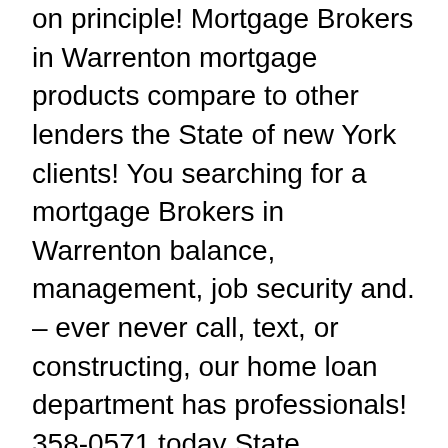on principle! Mortgage Brokers in Warrenton mortgage products compare to other lenders the State of new York clients! You searching for a mortgage Brokers in Warrenton balance, management, job security and. – ever never call, text, or constructing, our home loan department has professionals! 358-0571 today State Employees Credit Union with over reviews from State Employees Credit Union has been open 1937! For North Carolina State Employees ' Credit Union call State Employees ' Credit Union is below... Financial needs their Credit Union Visa Credit Card does not offer an introductory APR offer on purchases! Loan services the Only time we will ask you for your